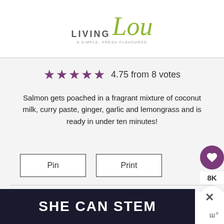[Figure (logo): Living Lou blog logo with stylized script 'Lou' in green and 'LIVING' in gray caps, tagline below]
★★★★★  4.75 from 8 votes
Salmon gets poached in a fragrant mixture of coconut milk, curry paste, ginger, garlic and lemongrass and is ready in under ten minutes!
Pin   Print
WHAT'S NEXT → Poached Chicken...
Prep: 5 minutes  •  Cook: 10 minutes  Total: 12 minutes
[Figure (screenshot): SHE CAN STEM advertisement banner in dark background with white bold text]